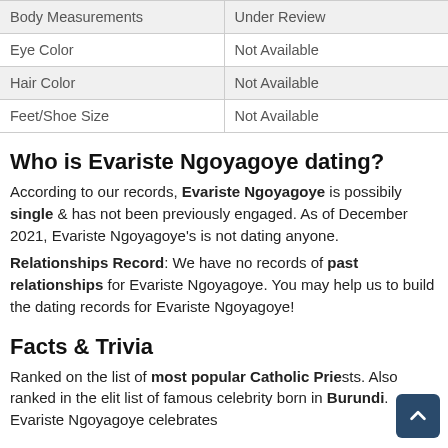| Body Measurements | Under Review |
| Eye Color | Not Available |
| Hair Color | Not Available |
| Feet/Shoe Size | Not Available |
Who is Evariste Ngoyagoye dating?
According to our records, Evariste Ngoyagoye is possibily single & has not been previously engaged. As of December 2021, Evariste Ngoyagoye's is not dating anyone.
Relationships Record: We have no records of past relationships for Evariste Ngoyagoye. You may help us to build the dating records for Evariste Ngoyagoye!
Facts & Trivia
Ranked on the list of most popular Catholic Priests. Also ranked in the elit list of famous celebrity born in Burundi. Evariste Ngoyagoye celebrates